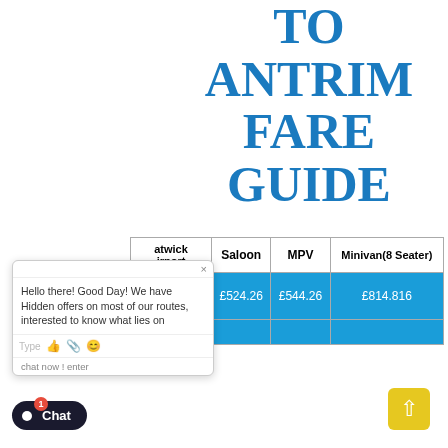TO ANTRIM FARE GUIDE
| Gatwick Airport | Saloon | MPV | Minivan(8 Seater) |
| --- | --- | --- | --- |
| Gatwick Airport | £524.26 | £544.26 | £814.816 |
| Antrim |  |  |  |